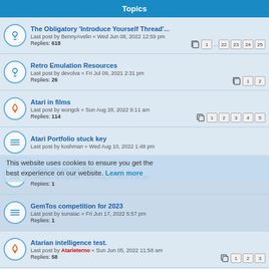Topics
The Obligatory 'Introduce Yourself Thread'... | Last post by BennyAvelin « Wed Jun 08, 2022 12:59 pm | Replies: 618 | Pages: 1 ... 22 23 24 25
Retro Emulation Resources | Last post by devolva « Fri Jul 09, 2021 2:31 pm | Replies: 26 | Pages: 1 2
Atari in films | Last post by wongck « Sun Aug 28, 2022 9:11 am | Replies: 114 | Pages: 1 2 3 4 5
Atari Portfolio stuck key | Last post by koshman « Wed Aug 10, 2022 1:48 pm
Video about the STe | Last post by Cyprian « Sun Aug 07, 2022 8:00 pm | Replies: 1
GemTos competition for 2023 | Last post by sunaiac « Fri Jun 17, 2022 5:57 pm | Replies: 1
Atarian intelligence test. | Last post by Atarieterno « Sun Jun 05, 2022 11:58 am | Replies: 58 | Pages: 1 2 3
Dave Smith 'Father of MIDI' has passed away
This website uses cookies to ensure you get the best experience on our website. Learn more